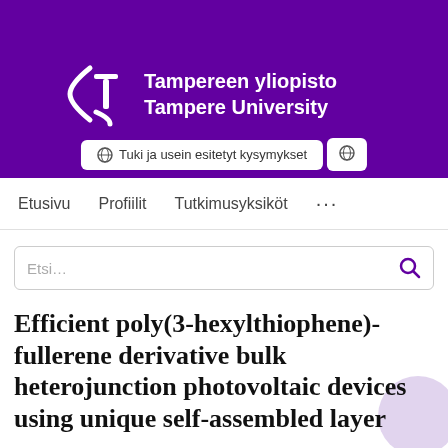[Figure (logo): Tampereen yliopisto / Tampere University logo on purple background with white stylized bracket and T symbol]
Tuki ja usein esitetyt kysymykset
Etusivu   Profiilit   Tutkimusyksiköt   ...
Etsi...
Efficient poly(3-hexylthiophene)-fullerene derivative bulk heterojunction photovoltaic devices using unique self-assembled layer